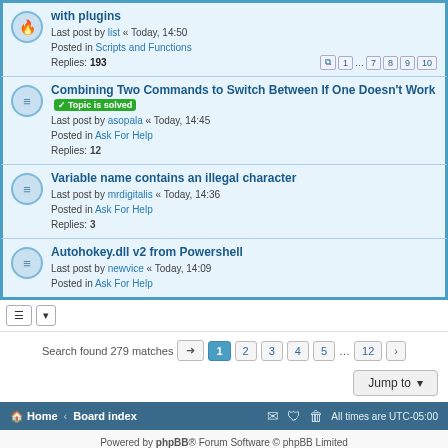with plugins - Last post by list « Today, 14:50 - Posted in Scripts and Functions - Replies: 193
Combining Two Commands to Switch Between If One Doesn't Work [Topic is solved] - Last post by asopala « Today, 14:45 - Posted in Ask For Help - Replies: 12
Variable name contains an illegal character - Last post by mrdigitalis « Today, 14:36 - Posted in Ask For Help - Replies: 3
Autohokey.dll v2 from Powershell - Last post by newvice « Today, 14:09 - Posted in Ask For Help
Search found 279 matches
Jump to
Home · Board index | All times are UTC-05:00
Powered by phpBB® Forum Software © phpBB Limited
Privacy | Terms